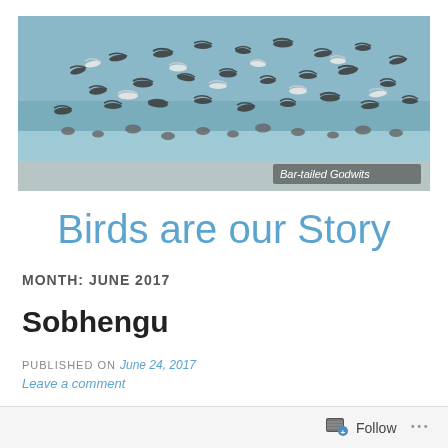[Figure (photo): A flock of Bar-tailed Godwits birds in flight and landing on a beach shore with blue water in the background. White text label 'Bar-tailed Godwits' in the lower right of the image.]
Birds are our Story
MONTH: JUNE 2017
Sobhengu
PUBLISHED ON June 24, 2017
Leave a comment
Follow ...